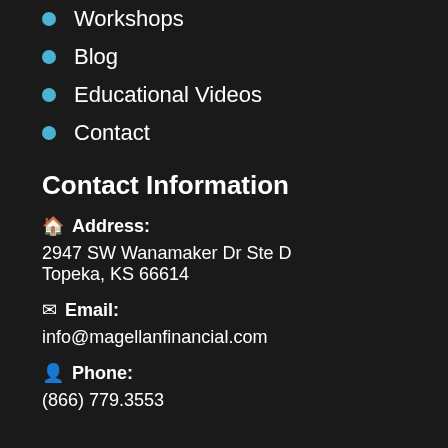Workshops
Blog
Educational Videos
Contact
Contact Information
Address: 2947 SW Wanamaker Dr Ste D Topeka, KS 66614
Email: info@magellanfinancial.com
Phone: (866) 779.3553